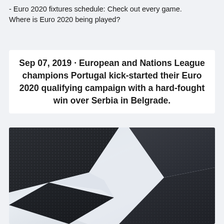- Euro 2020 fixtures schedule: Check out every game. Where is Euro 2020 being played?
Sep 07, 2019 · European and Nations League champions Portugal kick-started their Euro 2020 qualifying campaign with a hard-fought win over Serbia in Belgrade.
[Figure (photo): Close-up photo of a UEFA Champions League or Euro 2020 soccer ball, showing the textured dark panels with a light background — viewed from below at an angle, star-shaped gaps visible between black/dark grey panels]